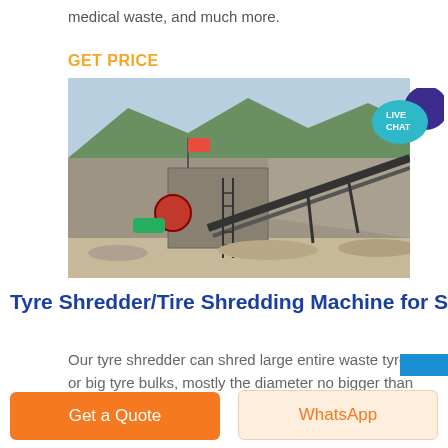medical waste, and much more.
GET PRICE
[Figure (photo): Outdoor industrial quarry/crushing plant with conveyor belts, machinery, rocky hillside background, and a red flag. Workers visible near equipment.]
Tyre Shredder/Tire Shredding Machine for S
Our tyre shredder can shred large entire waste tyres or big tyre bulks, mostly the diameter no bigger than 1200
Get a Quote
WhatsApp